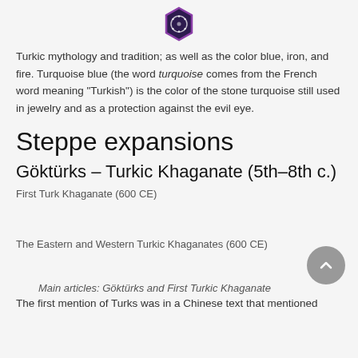[Figure (logo): Dark hexagonal logo icon with gear/dot pattern inside, purple/dark outline]
Turkic mythology and tradition; as well as the color blue, iron, and fire. Turquoise blue (the word turquoise comes from the French word meaning "Turkish") is the color of the stone turquoise still used in jewelry and as a protection against the evil eye.
Steppe expansions
Göktürks – Turkic Khaganate (5th–8th c.)
First Turk Khaganate (600 CE)
The Eastern and Western Turkic Khaganates (600 CE)
Main articles: Göktürks and First Turkic Khaganate
The first mention of Turks was in a Chinese text that mentioned